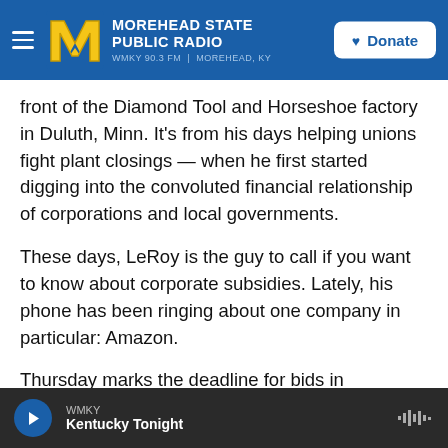MOREHEAD STATE PUBLIC RADIO — WMKY 90.3 FM | MOREHEAD, KY
front of the Diamond Tool and Horseshoe factory in Duluth, Minn. It's from his days helping unions fight plant closings — when he first started digging into the convoluted financial relationship of corporations and local governments.
These days, LeRoy is the guy to call if you want to know about corporate subsidies. Lately, his phone has been ringing about one company in particular: Amazon.
Thursday marks the deadline for bids in Amazon's highly publicized search for a location for its second
WMKY — Kentucky Tonight